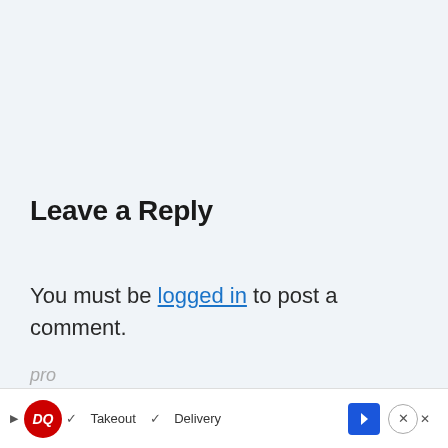Leave a Reply
You must be logged in to post a comment.
This site uses Akismet to reduce spam. Learn how your comment data is
[Figure (other): Advertisement banner for Dairy Queen showing DQ logo, Takeout and Delivery options with checkmarks, navigation arrow icon, and close button]